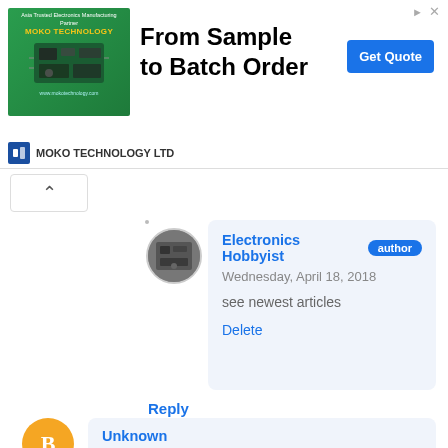[Figure (screenshot): Advertisement banner for MOKO TECHNOLOGY LTD with text 'From Sample to Batch Order' and a 'Get Quote' button. Features a green PCB image on the left.]
[Figure (screenshot): Comment by Electronics Hobbyist (author), dated Wednesday, April 18, 2018, with text 'see newest articles' and a Delete link.]
Reply
Unknown
Sunday, April 15, 2018
Hello! I downloaded the schematic and pcb pdfs